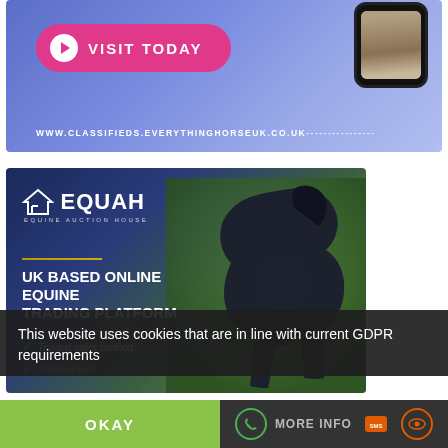[Figure (infographic): Blue gradient banner ad for www.classifieds.everythinghorseuk.co.uk with a pink 'VISIT TODAY' button with arrow icon and a phone showing horse hooves]
[Figure (infographic): EQUAH Equine Auction House ad with dark blue background, black horse silhouette, logo, gold divider line, headline 'UK BASED ONLINE EQUINE TRADING PLATFORM', and checkmarks for 'Trusted sales method']
This website uses cookies that are in line with current GDPR requirements
OKAY
MORE INFO